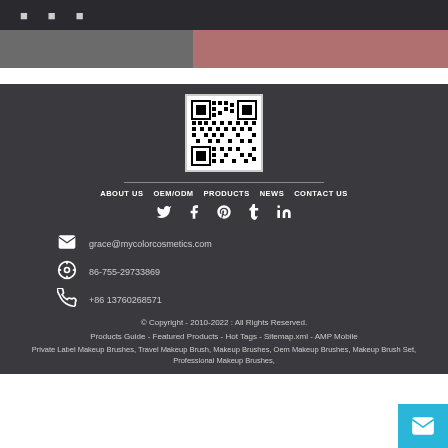Navigation icons (social/menu)
[Figure (photo): Partial image strip showing makeup brushes]
[Figure (other): QR code for mycolorcosmetics.com]
ABOUT US   OEM/ODM   PRODUCTS   NEWS   CONTACT US
Social media icons: Twitter, Facebook, Pinterest, Tumblr, LinkedIn
grace@mycolorcosmetics.com
86-755-29733869
+86 13760268571
© Copyright - 2010-2022 : All Rights Reserved.
Products Guide - Featured Products - Hot Tags - Sitemap.xml - AMP Mobile
Private Label Makeup Brushes, Travel Makeup Brush, Makeup Brushes, Oem Makeup Brushes, Makeup Brush Set, Professional Makeup Brushes,